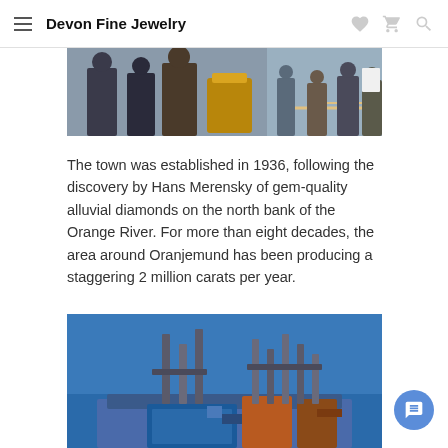Devon Fine Jewelry
[Figure (photo): Partial photo showing people in formal attire, appears to be an outdoor event or ceremony]
The town was established in 1936, following the discovery by Hans Merensky of gem-quality alluvial diamonds on the north bank of the Orange River. For more than eight decades, the area around Oranjemund has been producing a staggering 2 million carats per year.
[Figure (photo): Industrial mining equipment or offshore drilling platform with multiple vertical columns/pipes against a blue sky]